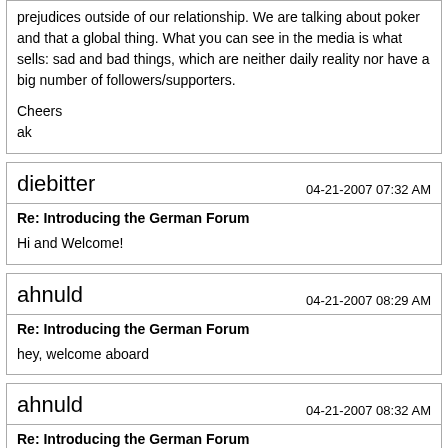prejudices outside of our relationship. We are talking about poker and that a global thing. What you can see in the media is what sells: sad and bad things, which are neither daily reality nor have a big number of followers/supporters.

Cheers
ak
diebitter
04-21-2007 07:32 AM
Re: Introducing the German Forum
Hi and Welcome!
ahnuld
04-21-2007 08:29 AM
Re: Introducing the German Forum
hey, welcome aboard
ahnuld
04-21-2007 08:32 AM
Re: Introducing the German Forum
also, you guys should fell free to lock and delete stupid threads like